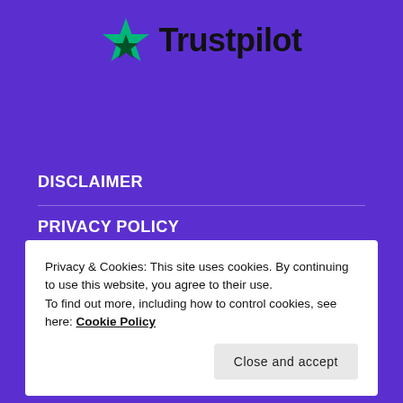[Figure (logo): Trustpilot logo: green star followed by bold text 'Trustpilot' on purple background]
DISCLAIMER
PRIVACY POLICY
TESTIMONIALS
Privacy & Cookies: This site uses cookies. By continuing to use this website, you agree to their use.
To find out more, including how to control cookies, see here: Cookie Policy
Close and accept